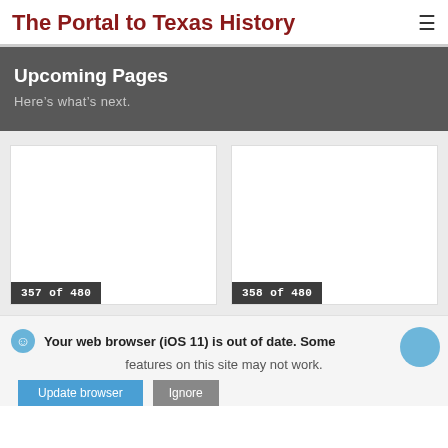The Portal to Texas History
Upcoming Pages
Here's what's next.
[Figure (other): Blank white document page thumbnail labeled '357 of 480']
[Figure (other): Blank white document page thumbnail labeled '358 of 480']
Your web browser (iOS 11) is out of date. Some features on this site may not work.
Update browser   Ignore